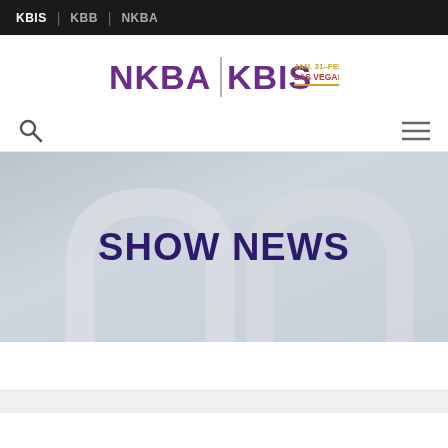KBIS | KBB | NKBA
[Figure (logo): NKBA | KBIS logo with text JAN. 31–FEB. 2 LAS VEGAS 2023]
[Figure (illustration): Search icon (magnifying glass) on left, hamburger menu icon on right]
[Figure (photo): Hero banner image showing blurred kitchen faucets in gray/silver tones with bold text SHOW NEWS overlaid in dark purple]
SHOW NEWS